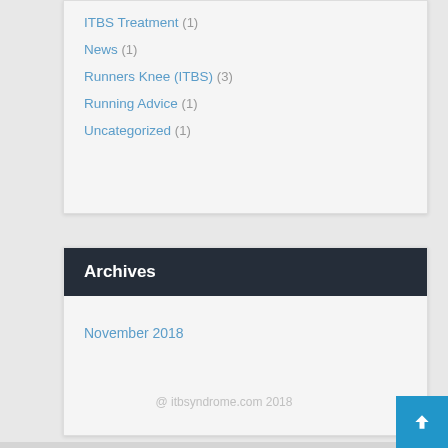ITBS Treatment (1)
News (1)
Runners Knee (ITBS) (3)
Running Advice (1)
Uncategorized (1)
Archives
November 2018
@ itbsyndrome.com 2018